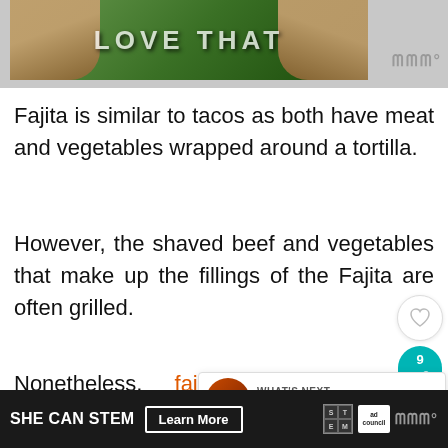[Figure (photo): Top portion of article image — appears to show hands and nature/food content with overlaid text, partially visible at top of page]
Fajita is similar to tacos as both have meat and vegetables wrapped around a tortilla.
However, the shaved beef and vegetables that make up the fillings of the Fajita are often grilled.
Nonetheless, fajitas are classic snacks, and even without the tortilla, you can enjoy the assortment of juicy shaved st... a h...
[Figure (infographic): Social sharing sidebar with heart/like button and teal share button showing count of 9]
[Figure (infographic): What's Next overlay showing thumbnail and text: 30 Of The Best Dutch Oven...]
[Figure (infographic): Ad banner: SHE CAN STEM with Learn More button, STEM logo, Ad Council logo, and site logo]